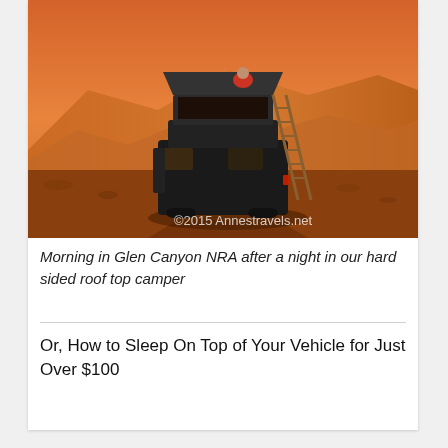[Figure (photo): A dark SUV or van with a hard-sided rooftop tent/camper mounted on top, with a ladder leaning against it. A person is visible at the top. The vehicle is parked in a desert landscape with red/orange canyon hills in the background, photographed at warm sunset/sunrise light. Watermark reads '©2015 Annestravels.net'.]
Morning in Glen Canyon NRA after a night in our hard sided roof top camper
Or, How to Sleep On Top of Your Vehicle for Just Over $100